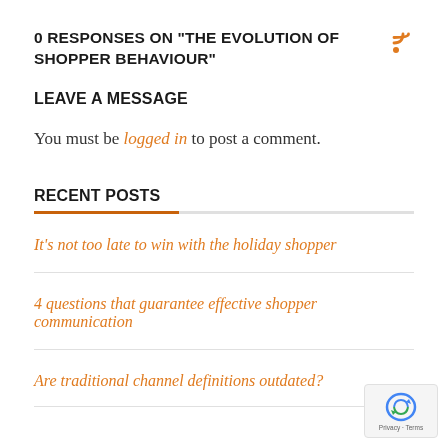0 RESPONSES ON "THE EVOLUTION OF SHOPPER BEHAVIOUR"
LEAVE A MESSAGE
You must be logged in to post a comment.
RECENT POSTS
It's not too late to win with the holiday shopper
4 questions that guarantee effective shopper communication
Are traditional channel definitions outdated?